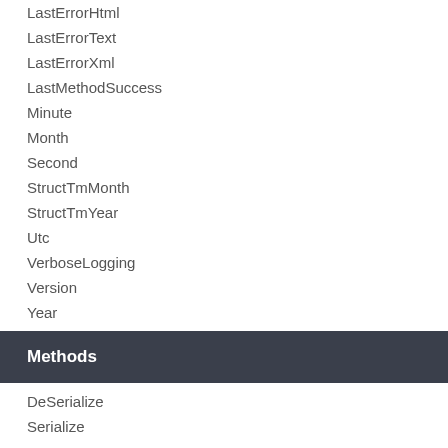LastErrorHtml
LastErrorText
LastErrorXml
LastMethodSuccess
Minute
Month
Second
StructTmMonth
StructTmYear
Utc
VerboseLogging
Version
Year
Methods
DeSerialize
Serialize